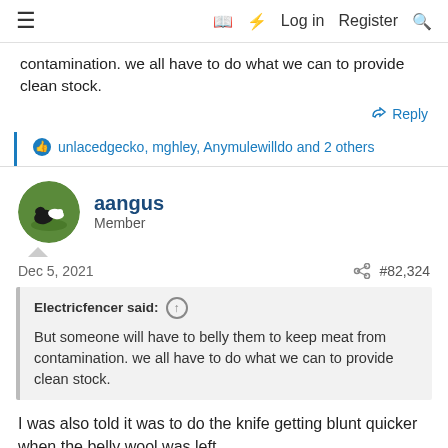≡  [book icon] [bolt icon] Log in  Register [search icon]
contamination. we all have to do what we can to provide clean stock.
↩ Reply
👍 unlacedgecko, mghley, Anymulewilldo and 2 others
aangus
Member
Dec 5, 2021   #82,324
Electricfencer said: ↑
But someone will have to belly them to keep meat from contamination. we all have to do what we can to provide clean stock.
I was also told it was to do the knife getting blunt quicker when the belly wool was left.